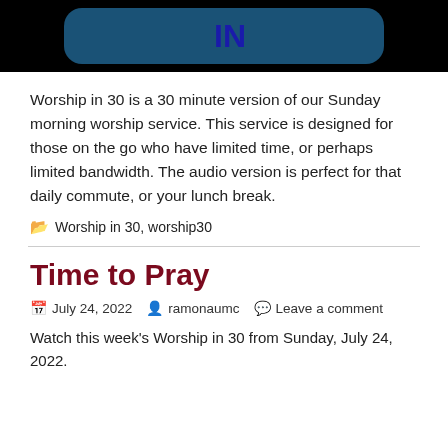[Figure (illustration): Banner image with dark background showing a rounded rectangle with 'IN' text in dark blue bold lettering, partial view of a 'Worship in 30' logo graphic]
Worship in 30 is a 30 minute version of our Sunday morning worship service. This service is designed for those on the go who have limited time, or perhaps limited bandwidth. The audio version is perfect for that daily commute, or your lunch break.
Worship in 30, worship30
Time to Pray
July 24, 2022   ramonaumc   Leave a comment
Watch this week's Worship in 30 from Sunday, July 24, 2022.